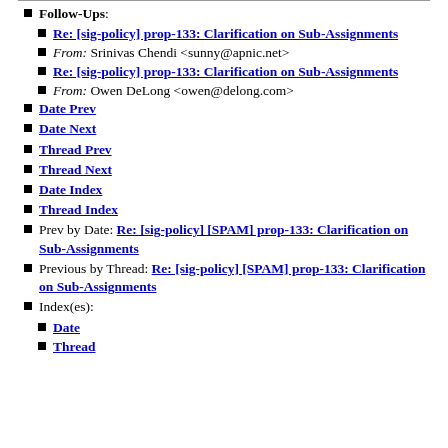Follow-Ups:
Re: [sig-policy] prop-133: Clarification on Sub-Assignments
From: Srinivas Chendi <sunny@apnic.net>
Re: [sig-policy] prop-133: Clarification on Sub-Assignments
From: Owen DeLong <owen@delong.com>
Date Prev
Date Next
Thread Prev
Thread Next
Date Index
Thread Index
Prev by Date: Re: [sig-policy] [SPAM] prop-133: Clarification on Sub-Assignments
Previous by Thread: Re: [sig-policy] [SPAM] prop-133: Clarification on Sub-Assignments
Index(es):
Date
Thread